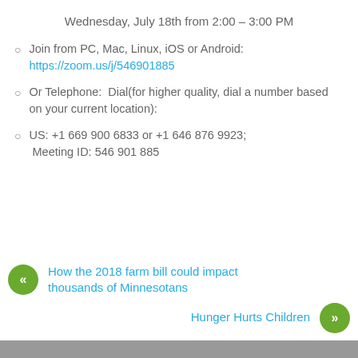Wednesday, July 18th from 2:00 – 3:00 PM
Join from PC, Mac, Linux, iOS or Android: https://zoom.us/j/546901885
Or Telephone:  Dial(for higher quality, dial a number based on your current location):
US: +1 669 900 6833 or +1 646 876 9923; Meeting ID: 546 901 885
How the 2018 farm bill could impact thousands of Minnesotans
Hunger Hurts Children